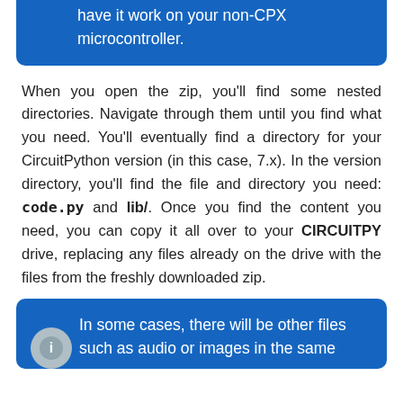have it work on your non-CPX microcontroller.
When you open the zip, you'll find some nested directories. Navigate through them until you find what you need. You'll eventually find a directory for your CircuitPython version (in this case, 7.x). In the version directory, you'll find the file and directory you need: code.py and lib/. Once you find the content you need, you can copy it all over to your CIRCUITPY drive, replacing any files already on the drive with the files from the freshly downloaded zip.
In some cases, there will be other files such as audio or images in the same